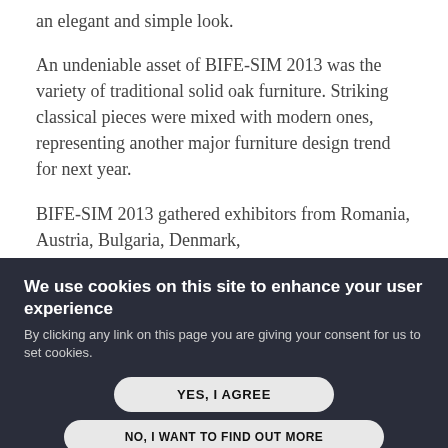an elegant and simple look.
An undeniable asset of BIFE-SIM 2013 was the variety of traditional solid oak furniture. Striking classical pieces were mixed with modern ones, representing another major furniture design trend for next year.
BIFE-SIM 2013 gathered exhibitors from Romania, Austria, Bulgaria, Denmark, Switzerland, Germany, the Czech Republic,
We use cookies on this site to enhance your user experience
By clicking any link on this page you are giving your consent for us to set cookies.
YES, I AGREE
NO, I WANT TO FIND OUT MORE